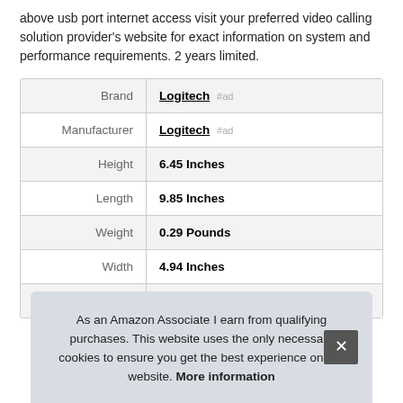above usb port internet access visit your preferred video calling solution provider's website for exact information on system and performance requirements. 2 years limited.
|  |  |
| --- | --- |
| Brand | Logitech #ad |
| Manufacturer | Logitech #ad |
| Height | 6.45 Inches |
| Length | 9.85 Inches |
| Weight | 0.29 Pounds |
| Width | 4.94 Inches |
| P... |  |
As an Amazon Associate I earn from qualifying purchases. This website uses the only necessary cookies to ensure you get the best experience on our website. More information